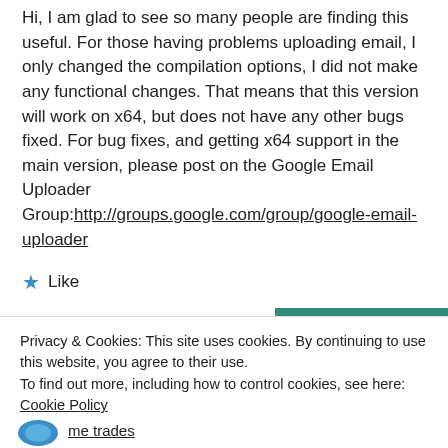Hi, I am glad to see so many people are finding this useful. For those having problems uploading email, I only changed the compilation options, I did not make any functional changes. That means that this version will work on x64, but does not have any other bugs fixed. For bug fixes, and getting x64 support in the main version, please post on the Google Email Uploader Group:http://groups.google.com/group/google-email-uploader
★ Like
Privacy & Cookies: This site uses cookies. By continuing to use this website, you agree to their use.
To find out more, including how to control cookies, see here: Cookie Policy
Close and accept